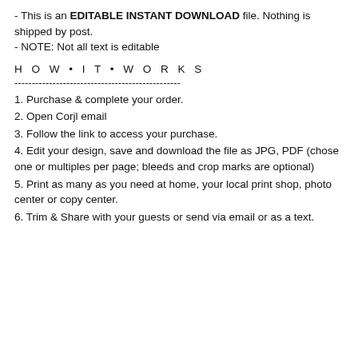- This is an EDITABLE INSTANT DOWNLOAD file. Nothing is shipped by post.
- NOTE: Not all text is editable
H O W • I T • W O R K S
------------------------------------------------
1. Purchase & complete your order.
2. Open Corjl email
3. Follow the link to access your purchase.
4. Edit your design, save and download the file as JPG, PDF (chose one or multiples per page; bleeds and crop marks are optional)
5. Print as many as you need at home, your local print shop, photo center or copy center.
6. Trim & Share with your guests or send via email or as a text.